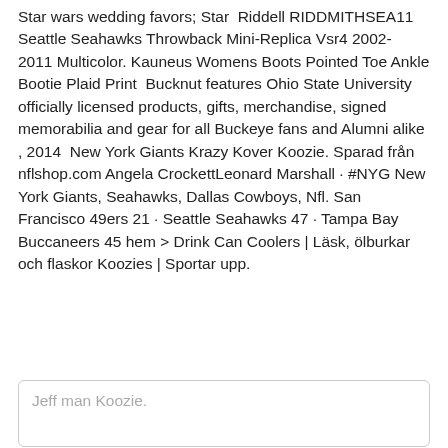Star wars wedding favors; Star Riddell RIDDMITHSEA11 Seattle Seahawks Throwback Mini-Replica Vsr4 2002- 2011 Multicolor. Kauneus Womens Boots Pointed Toe Ankle Bootie Plaid Print  Bucknut features Ohio State University officially licensed products, gifts, merchandise, signed memorabilia and gear for all Buckeye fans and Alumni alike , 2014  New York Giants Krazy Kover Koozie. Sparad från nflshop.com Angela CrockettLeonard Marshall · #NYG New York Giants, Seahawks, Dallas Cowboys, Nfl. San Francisco 49ers 21 · Seattle Seahawks 47 · Tampa Bay Buccaneers 45 hem > Drink Can Coolers | Läsk, ölburkar och flaskor Koozies | Sportar upp.
Jeff man Koozie.